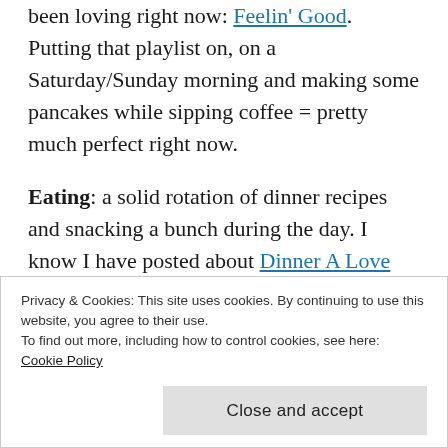been loving right now: Feelin' Good. Putting that playlist on, on a Saturday/Sunday morning and making some pancakes while sipping coffee = pretty much perfect right now.
Eating: a solid rotation of dinner recipes and snacking a bunch during the day. I know I have posted about Dinner A Love Story before but their cookbooks are seriously the two most often looked at books in my collection. They have such solid, easy, delicious recipes and I have yet to find one that I don't like. We also ventured to a local farmers market that opens up on Saturdays near
Privacy & Cookies: This site uses cookies. By continuing to use this website, you agree to their use.
To find out more, including how to control cookies, see here:
Cookie Policy
Close and accept